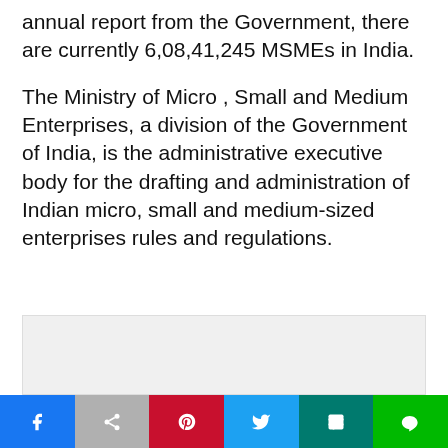annual report from the Government, there are currently 6,08,41,245 MSMEs in India.
The Ministry of Micro , Small and Medium Enterprises, a division of the Government of India, is the administrative executive body for the drafting and administration of Indian micro, small and medium-sized enterprises rules and regulations.
[Figure (other): Light grey placeholder image box]
Social sharing bar with Facebook, grey share, Pinterest, Twitter, Teal share, LINE buttons